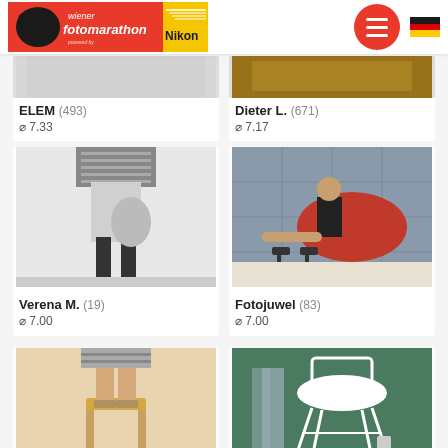Wiener Fotomarathon powered by Nikon
[Figure (photo): Partial photo of ELEM entry - top cropped]
ELEM (493) ⌀ 7.33
[Figure (photo): Partial photo of Dieter L. entry - wooden texture]
Dieter L. (671) ⌀ 7.17
[Figure (photo): Black and white photo of person in striped top bending over - Verena M.]
Verena M. (19) ⌀ 7.00
[Figure (photo): Color photo of woman in red dress crawling on floor - Fotojuwel]
Fotojuwel (83) ⌀ 7.00
[Figure (photo): Partial photo - legs on wooden stool, warm tones]
[Figure (photo): Partial photo - white chair on green/teal background]